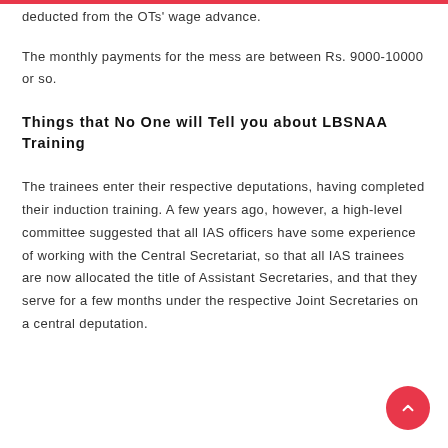deducted from the OTs' wage advance.
The monthly payments for the mess are between Rs. 9000-10000 or so.
Things that No One will Tell you about LBSNAA Training
The trainees enter their respective deputations, having completed their induction training. A few years ago, however, a high-level committee suggested that all IAS officers have some experience of working with the Central Secretariat, so that all IAS trainees are now allocated the title of Assistant Secretaries, and that they serve for a few months under the respective Joint Secretaries on a central deputation.